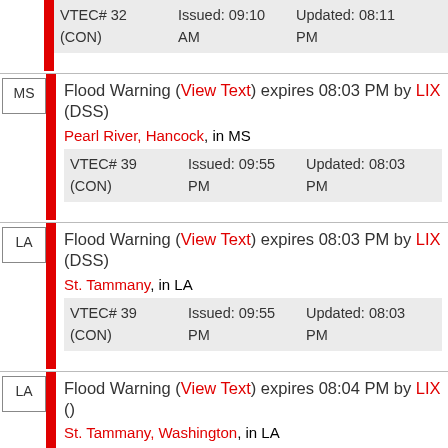VTEC# 32 (CON)  Issued: 09:10 AM  Updated: 08:11 PM
Flood Warning (View Text) expires 08:03 PM by LIX (DSS) Pearl River, Hancock, in MS VTEC# 39 (CON) Issued: 09:55 PM Updated: 08:03 PM
Flood Warning (View Text) expires 08:03 PM by LIX (DSS) St. Tammany, in LA VTEC# 39 (CON) Issued: 09:55 PM Updated: 08:03 PM
Flood Warning (View Text) expires 08:04 PM by LIX () St. Tammany, Washington, in LA